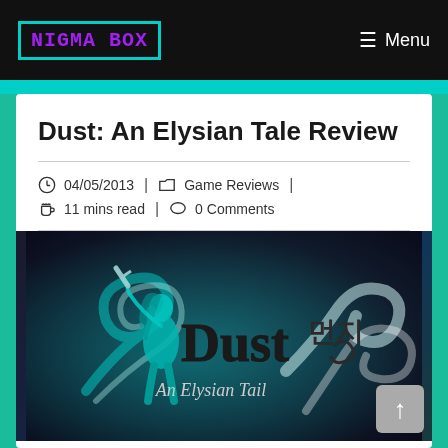NIGMA BOX | Menu
Dust: An Elysian Tale Review
04/05/2013 | Game Reviews | 11 mins read | 0 Comments
[Figure (illustration): Dust: An Elysian Tail game logo with a stylized character holding a sword, teal/cyan smoke swirls on a dark background, with Korean text (먼지) and subtitle 'An Elysian Tail']